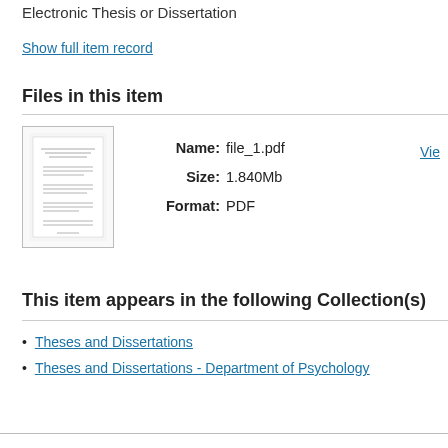Electronic Thesis or Dissertation
Show full item record
Files in this item
[Figure (other): Thumbnail preview of a PDF document titled file_1.pdf]
Name: file_1.pdf
Size: 1.840Mb
Format: PDF
This item appears in the following Collection(s)
Theses and Dissertations
Theses and Dissertations - Department of Psychology